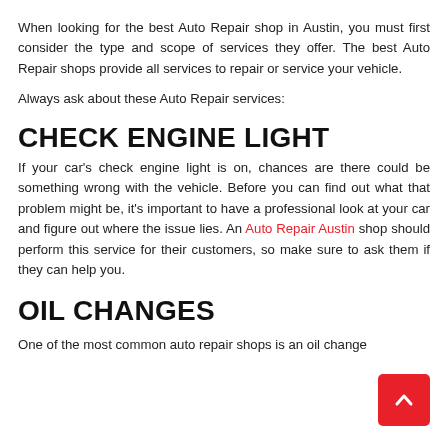When looking for the best Auto Repair shop in Austin, you must first consider the type and scope of services they offer. The best Auto Repair shops provide all services to repair or service your vehicle.
Always ask about these Auto Repair services:
CHECK ENGINE LIGHT
If your car's check engine light is on, chances are there could be something wrong with the vehicle. Before you can find out what that problem might be, it's important to have a professional look at your car and figure out where the issue lies. An Auto Repair Austin shop should perform this service for their customers, so make sure to ask them if they can help you.
OIL CHANGES
One of the most common auto repair shops is an oil change